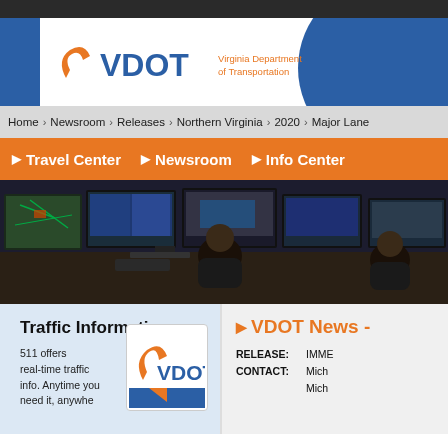[Figure (logo): VDOT Virginia Department of Transportation logo with orange curved arrow and blue text]
Home > Newsroom > Releases > Northern Virginia > 2020 > Major Lane
▶ Travel Center  ▶ Newsroom  ▶ Info Center
[Figure (photo): Traffic management control center with multiple monitors showing maps and data, operator seated at workstation]
Traffic Information
511 offers real-time traffic info. Anytime you need it, anywhere
[Figure (logo): VDOT badge/icon logo]
▶ VDOT News -
RELEASE: IMME
CONTACT: Mich